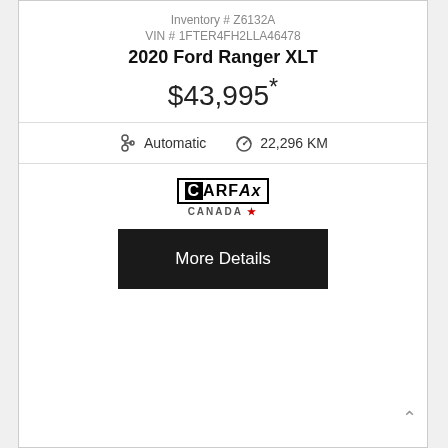[Figure (photo): Front view of a 2020 Ford Ranger XLT truck, showing grille, bumper, wheels on a concrete surface]
Inventory # Z6132A
VIN # 1FTER4FH2LLA46478
2020 Ford Ranger XLT
$43,995*
Automatic  22,296 KM
[Figure (logo): CARFAX Canada logo]
More Details